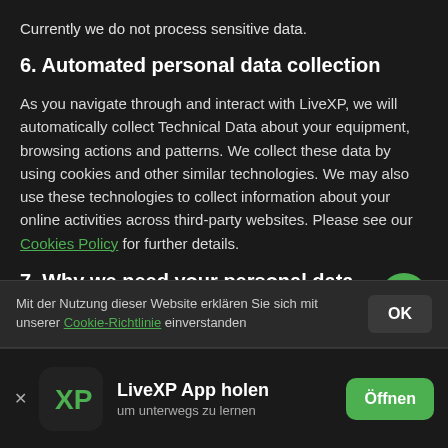Currently we do not process sensitive data.
6. Automated personal data collection
As you navigate through and interact with LiveXP, we will automatically collect Technical Data about your equipment, browsing actions and patterns. We collect these data by using cookies and other similar technologies. We may also use these technologies to collect information about your online activities across third-party websites. Please see our Cookies Policy for further details.
7. Why we need your personal data and how we use it
Mit der Nutzung dieser Website erklären Sie sich mit unserer Cookie-Richtlinie einverstanden
LiveXP App holen um unterwegs zu lernen